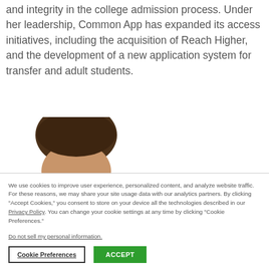and integrity in the college admission process. Under her leadership, Common App has expanded its access initiatives, including the acquisition of Reach Higher, and the development of a new application system for transfer and adult students.
[Figure (photo): Partial view of a person's head showing dark hair from the top, cropped at the bottom of the visible area]
We use cookies to improve user experience, personalized content, and analyze website traffic. For these reasons, we may share your site usage data with our analytics partners. By clicking "Accept Cookies," you consent to store on your device all the technologies described in our Privacy Policy. You can change your cookie settings at any time by clicking "Cookie Preferences."
Do not sell my personal information.
Cookie Preferences   ACCEPT